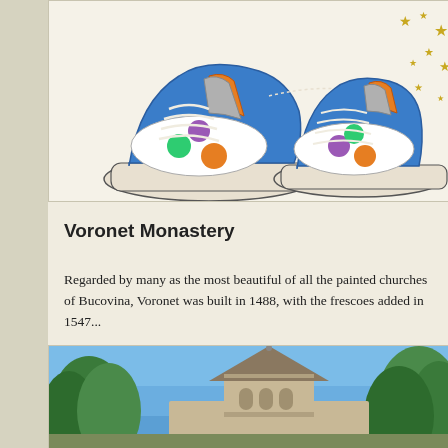[Figure (illustration): Illustration of two colorful children's sneakers/shoes with blue glittery fabric, white soles, dotted patterns with green, orange, purple, teal dots, and white laces. Gold stars in upper right corner.]
Voronet Monastery
Regarded by many as the most beautiful of all the painted churches of Bucovina, Voronet was built in 1488, with the frescoes added in 1547...
[Figure (photo): Photograph of Voronet Monastery showing the distinctive pointed tower/steeple of the church building surrounded by green trees against a blue sky.]